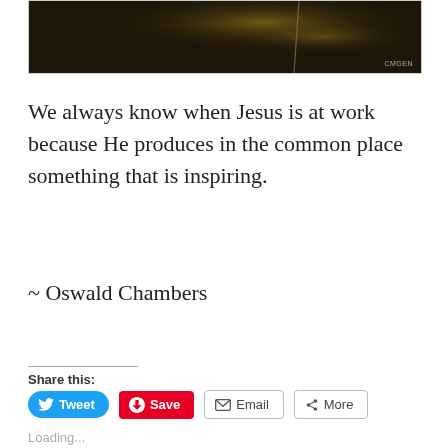[Figure (photo): Dark nature photo (partial view, top of page), showing a dark background with warm bokeh light and a thin vertical element. Watermark 'CMGEN' visible at bottom right.]
We always know when Jesus is at work because He produces in the common place something that is inspiring.
~ Oswald Chambers
Share this:
Loading...